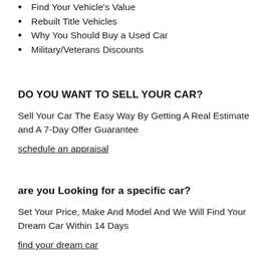Find Your Vehicle's Value
Rebuilt Title Vehicles
Why You Should Buy a Used Car
Military/Veterans Discounts
DO YOU WANT TO SELL YOUR CAR?
Sell Your Car The Easy Way By Getting A Real Estimate and A 7-Day Offer Guarantee
schedule an appraisal
are you Looking for a specific car?
Set Your Price, Make And Model And We Will Find Your Dream Car Within 14 Days
find your dream car